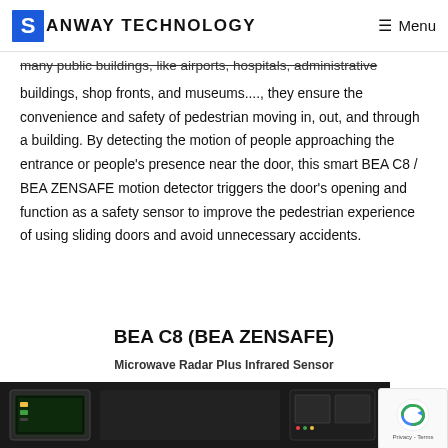SANWAY TECHNOLOGY   Menu
many public buildings, like airports, hospitals, administrative buildings, shop fronts, and museums...., they ensure the convenience and safety of pedestrian moving in, out, and through a building. By detecting the motion of people approaching the entrance or people's presence near the door, this smart BEA C8 / BEA ZENSAFE motion detector triggers the door's opening and function as a safety sensor to improve the pedestrian experience of using sliding doors and avoid unnecessary accidents.
BEA C8 (BEA ZENSAFE)
Microwave Radar Plus Infrared Sensor
[Figure (photo): Product photo of BEA C8 / BEA ZENSAFE motion detector device, dark hardware device shown from front]